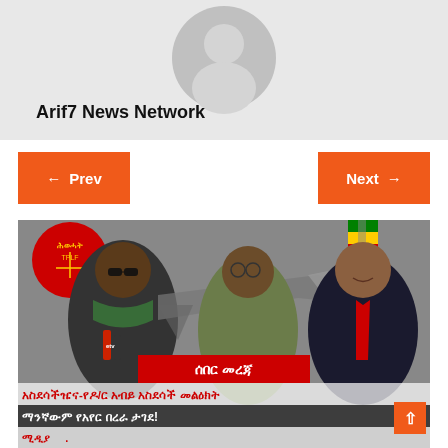[Figure (photo): Gray profile avatar placeholder with circular head shape on light gray background]
Arif7 News Network
← Prev
Next →
[Figure (photo): News image showing three men (one in military uniform, one in civilian clothes with scarf, one in suit with red tie) with a fighter jet and Ethiopian flag in background. Overlaid with Amharic breaking news text in red and white banners: ሰበር መረጃ / አስደሳችዤና-የዶ/ር አብይ አስደሳች መልዕክት / ማንኛውም የአየር በረራ ታገደ! / ​ሚዲያ​ ​​ኦ​ቅ​ ​ኦ​ቅ​ ​ኦ​ቅ​ .ምን ታዘዝ]
ሰበር መረጃ
አስደሳችዤና-የዶ/ር አብይ አስደሳች መልዕክት
ማንኛውም የአየር በረራ ታገደ!
ሚዲያ ​ ቅደ ​ ቅ ​ ቅ ​ . ምን ታዘዝ